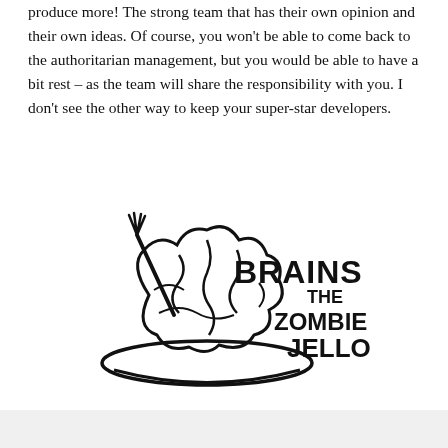produce more! The strong team that has their own opinion and their own ideas. Of course, you won't be able to come back to the authoritarian management, but you would be able to have a bit rest – as the team will share the responsibility with you. I don't see the other way to keep your super-star developers.
[Figure (illustration): A cartoon illustration of a brain on a plate with a fork/knife, with the text 'BRAINS THE ZOMBIE JELLO' in bold hand-drawn lettering.]